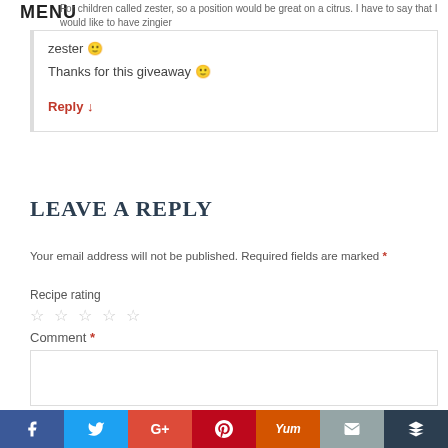MENU
For children called zester, so a position would be great on a citrus. I have to say that I would like to have zingier
zester 🙂
Thanks for this giveaway 🙂
Reply ↓
LEAVE A REPLY
Your email address will not be published. Required fields are marked *
Recipe rating
☆ ☆ ☆ ☆ ☆
Comment *